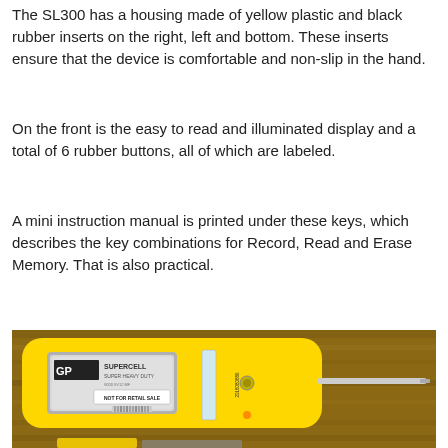The SL300 has a housing made of yellow plastic and black rubber inserts on the right, left and bottom. These inserts ensure that the device is comfortable and non-slip in the hand.
On the front is the easy to read and illuminated display and a total of 6 rubber buttons, all of which are labeled.
A mini instruction manual is printed under these keys, which describes the key combinations for Record, Read and Erase Memory. That is also practical.
[Figure (photo): Photo of the back of a yellow handheld SL300 device lying on a wooden surface, showing an open battery compartment with a GP Supercell 9V battery installed labeled 'NOT FOR RETAIL SALE', a serial number sticker on the side, and a probe extending to the right. A partial view of another device component is visible at the bottom.]